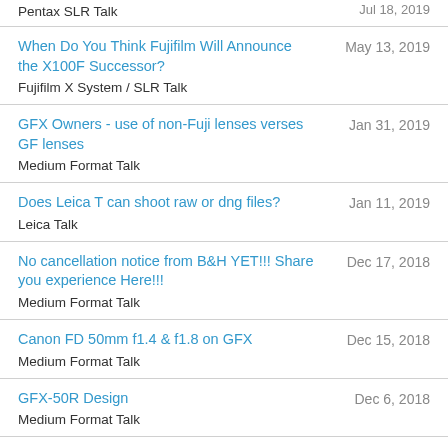Pentax SLR Talk | Jul 18, 2019
When Do You Think Fujifilm Will Announce the X100F Successor? | Fujifilm X System / SLR Talk | May 13, 2019
GFX Owners - use of non-Fuji lenses verses GF lenses | Medium Format Talk | Jan 31, 2019
Does Leica T can shoot raw or dng files? | Leica Talk | Jan 11, 2019
No cancellation notice from B&H YET!!! Share you experience Here!!! | Medium Format Talk | Dec 17, 2018
Canon FD 50mm f1.4 & f1.8 on GFX | Medium Format Talk | Dec 15, 2018
GFX-50R Design | Medium Format Talk | Dec 6, 2018
Michelle Turner - GFX50R for location portrait work | Medium Format Talk | Dec 2, 2018
G85 vs OM-D EM10 MKIII | Nov 29, 2018